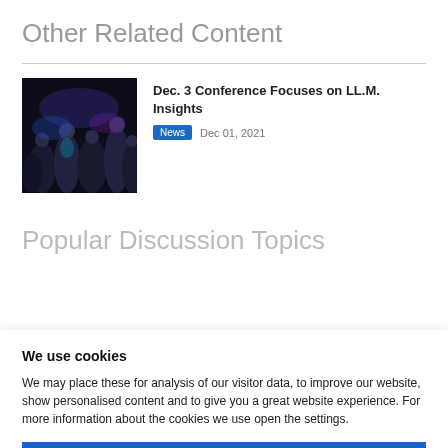Other Related Content
[Figure (photo): Crowd of people at a conference or event, dark background with blue/purple lighting]
Dec. 3 Conference Focuses on LL.M. Insights
News  Dec 01, 2021
Popular Discussion Topics
We use cookies
We may place these for analysis of our visitor data, to improve our website, show personalised content and to give you a great website experience. For more information about the cookies we use open the settings.
Ok, continue
Deny
No, adjust